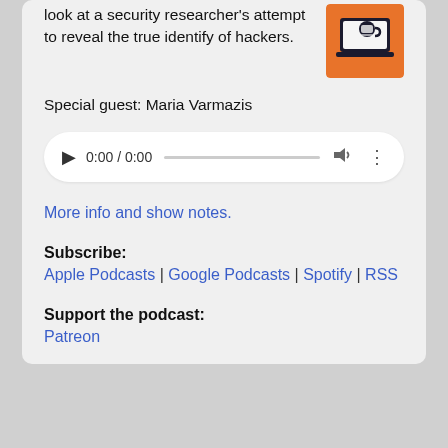look at a security researcher's attempt to reveal the true identify of hackers.
[Figure (illustration): Podcast thumbnail: orange background with a laptop and hacker figure icon]
Special guest: Maria Varmazis
[Figure (other): Audio player widget showing 0:00 / 0:00 with progress bar, volume and more options buttons]
More info and show notes.
Subscribe: Apple Podcasts | Google Podcasts | Spotify | RSS
Support the podcast: Patreon